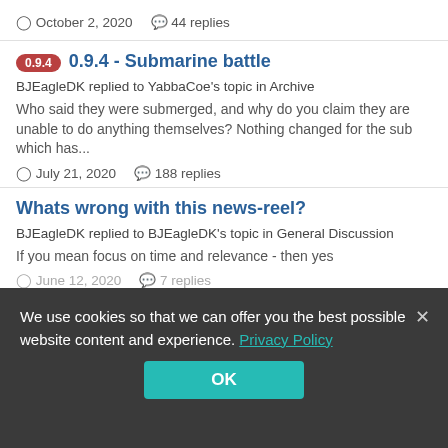October 2, 2020   44 replies
0.9.4 - Submarine battle
BJEagleDK replied to YabbaCoe's topic in Archive
Who said they were submerged, and why do you claim they are unable to do anything themselves? Nothing changed for the sub which has...
July 21, 2020   188 replies
Whats wrong with this news-reel?
BJEagleDK replied to BJEagleDK's topic in General Discussion
If you mean focus on time and relevance - then yes
June 12, 2020   7 replies
We use cookies so that we can offer you the best possible website content and experience. Privacy Policy
OK